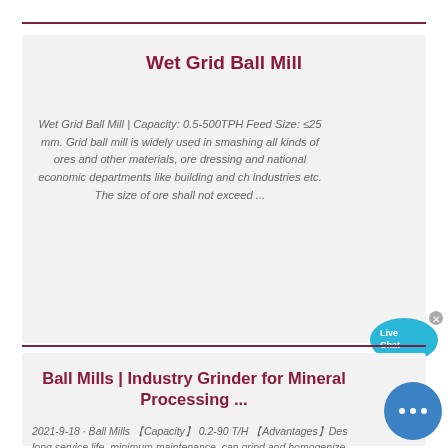Wet Grid Ball Mill
Wet Grid Ball Mill | Capacity: 0.5-500TPH Feed Size: ≤25 mm. Grid ball mill is widely used in smashing all kinds of ores and other materials, ore dressing and national economic departments like building and ch industries etc. The size of ore shall not exceed ...
Ball Mills | Industry Grinder for Mineral Processing ...
2021-9-18 · Ball Mills 【Capacity】 0.2-90 T/H 【Advantages】Des long service life, minimum maintenance, can grind and homogenize